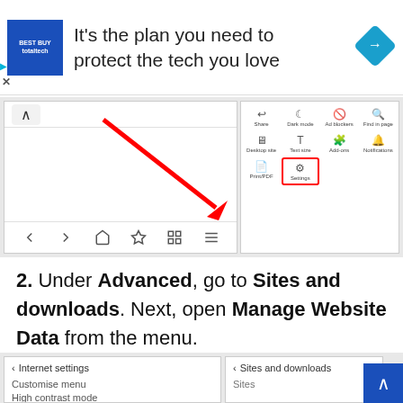[Figure (screenshot): Advertisement banner for 'totaltech' plan with logo, text 'It's the plan you need to protect the tech you love', and a blue diamond navigation icon]
[Figure (screenshot): Two mobile browser screenshots showing Firefox menu with a red arrow pointing to the hamburger menu icon, and the browser menu panel with Settings highlighted in a red box]
2. Under Advanced, go to Sites and downloads. Next, open Manage Website Data from the menu.
[Figure (screenshot): Two mobile screenshots showing Internet settings menu and Sites and downloads menu]